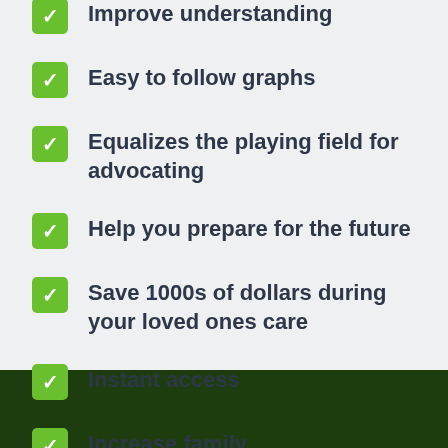Improve understanding
Easy to follow graphs
Equalizes the playing field for advocating
Help you prepare for the future
Save 1000s of dollars during your loved ones care
Instant access
Increase family communication